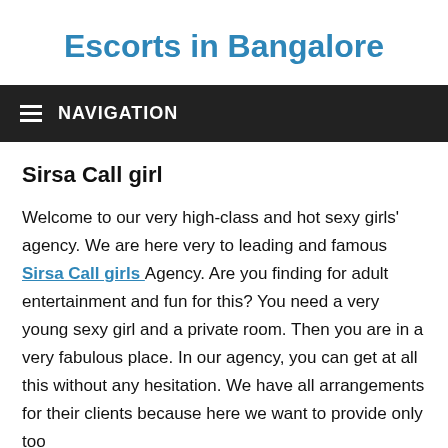Escorts in Bangalore
NAVIGATION
Sirsa Call girl
Welcome to our very high-class and hot sexy girls' agency. We are here very to leading and famous Sirsa Call girls  Agency. Are you finding for adult entertainment and fun for this? You need a very young sexy girl and a private room. Then you are in a very fabulous place. In our agency, you can get at all this without any hesitation. We have all arrangements for their clients because here we want to provide only too